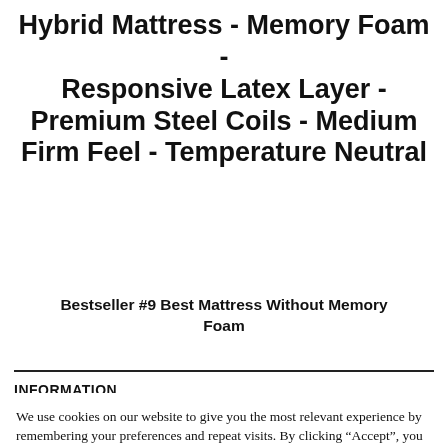Hybrid Mattress - Memory Foam - Responsive Latex Layer - Premium Steel Coils - Medium Firm Feel - Temperature Neutral
Bestseller #9 Best Mattress Without Memory Foam
INFORMATION
We use cookies on our website to give you the most relevant experience by remembering your preferences and repeat visits. By clicking “Accept”, you consent to the use of ALL the cookies. Do not sell my personal information.